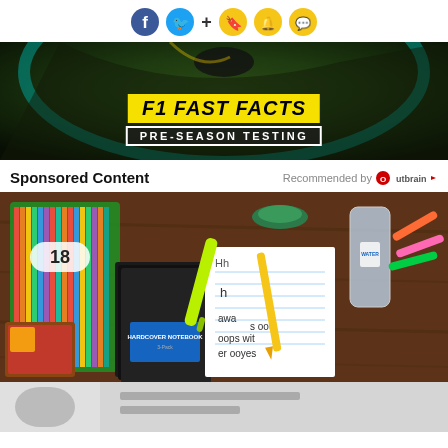[Figure (screenshot): Social media share icons: Facebook (blue circle), Twitter (blue circle), plus sign, bookmark icon (yellow circle), bell icon (yellow circle), chat/speech bubble icon (yellow circle)]
[Figure (photo): F1 racing track aerial view banner with text 'F1 FAST FACTS' in yellow and 'PRE-SEASON TESTING' in white on dark background]
Sponsored Content
Recommended by Outbrain
[Figure (photo): Overhead flat-lay photo of school supplies including colored pencils, black notebooks, highlighter, writing practice sheets, water bottle, and various stationery items on a wooden table]
[Figure (photo): Bottom portion showing another school-related photo, partially visible]